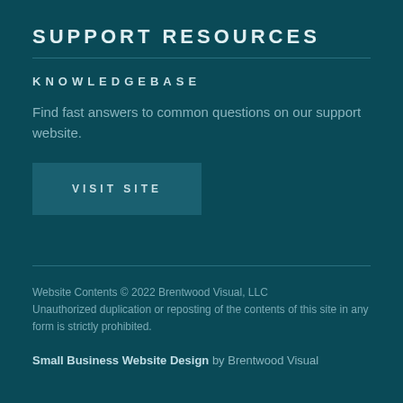SUPPORT RESOURCES
KNOWLEDGEBASE
Find fast answers to common questions on our support website.
VISIT SITE
Website Contents © 2022 Brentwood Visual, LLC
Unauthorized duplication or reposting of the contents of this site in any form is strictly prohibited.
Small Business Website Design by Brentwood Visual